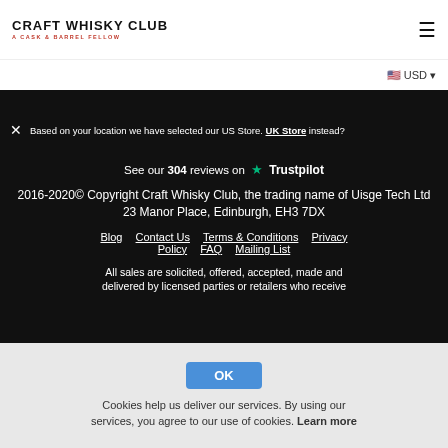CRAFT WHISKY CLUB
Based on your location we have selected our US Store. UK Store instead?
See our 304 reviews on Trustpilot
2016-2020© Copyright Craft Whisky Club, the trading name of Uisge Tech Ltd
23 Manor Place, Edinburgh, EH3 7DX
Blog
Contact Us
Terms & Conditions
Privacy Policy
FAQ
Mailing List
All sales are solicited, offered, accepted, made and delivered by licensed parties or retailers who receive
Cookies help us deliver our services. By using our services, you agree to our use of cookies. Learn more